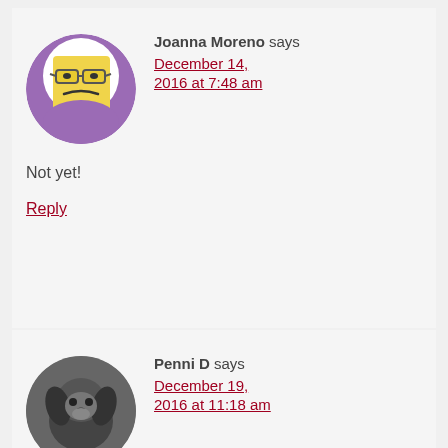[Figure (illustration): Circular avatar image of a yellow square cartoon face with glasses and a frown, on a purple background]
Joanna Moreno says
December 14, 2016 at 7:48 am
Not yet!
Reply
[Figure (photo): Circular avatar photo of a small dark-colored dog (Pekingese or similar), black and white photo]
Penni D says
December 19, 2016 at 11:18 am